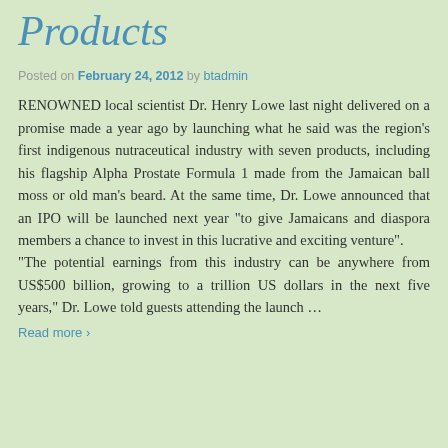Products
Posted on February 24, 2012 by btadmin
RENOWNED local scientist Dr. Henry Lowe last night delivered on a promise made a year ago by launching what he said was the region's first indigenous nutraceutical industry with seven products, including his flagship Alpha Prostate Formula 1 made from the Jamaican ball moss or old man's beard. At the same time, Dr. Lowe announced that an IPO will be launched next year "to give Jamaicans and diaspora members a chance to invest in this lucrative and exciting venture". "The potential earnings from this industry can be anywhere from US$500 billion, growing to a trillion US dollars in the next five years," Dr. Lowe told guests attending the launch …
Read more ›